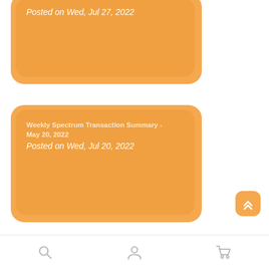Posted on Wed, Jul 27, 2022
Weekly Spectrum Transaction Summary - May 20, 2022
Posted on Wed, Jul 20, 2022
Weekly Spectrum Transaction Summary - May 13, 2022
Posted on Wed, Jul 13, 2022
[Figure (other): Back-to-top button with double chevron up icon, orange rounded square]
Navigation bar with search, user, and cart icons